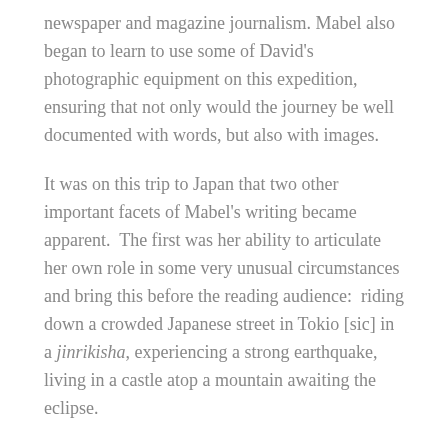newspaper and magazine journalism. Mabel also began to learn to use some of David's photographic equipment on this expedition, ensuring that not only would the journey be well documented with words, but also with images.
It was on this trip to Japan that two other important facets of Mabel's writing became apparent.  The first was her ability to articulate her own role in some very unusual circumstances and bring this before the reading audience:  riding down a crowded Japanese street in Tokio [sic] in a jinrikisha, experiencing a strong earthquake, living in a castle atop a mountain awaiting the eclipse.
Another highlight of this trip was the ascent up Mt. Fuji.  Mabel became the